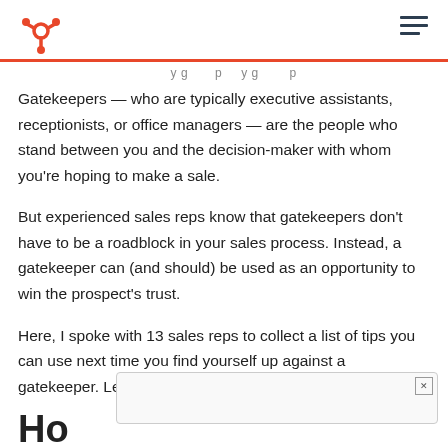HubSpot logo and navigation
Gatekeepers — who are typically executive assistants, receptionists, or office managers — are the people who stand between you and the decision-maker with whom you're hoping to make a sale.
But experienced sales reps know that gatekeepers don't have to be a roadblock in your sales process. Instead, a gatekeeper can (and should) be used as an opportunity to win the prospect's trust.
Here, I spoke with 13 sales reps to collect a list of tips you can use next time you find yourself up against a gatekeeper. Let's dive in.
Ho